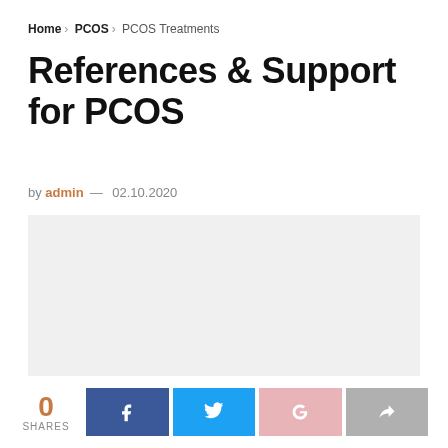Home > PCOS > PCOS Treatments
References & Support for PCOS
by admin — 02.10.2020
[Figure (other): Light gray placeholder image box]
0 SHARES — social share buttons: Facebook, Twitter, Google+, Share